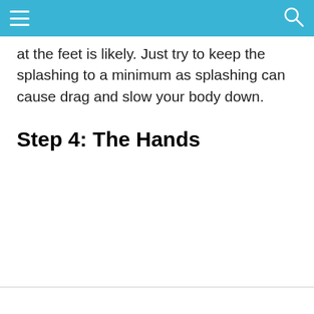at the feet is likely. Just try to keep the splashing to a minimum as splashing can cause drag and slow your body down.
Step 4: The Hands